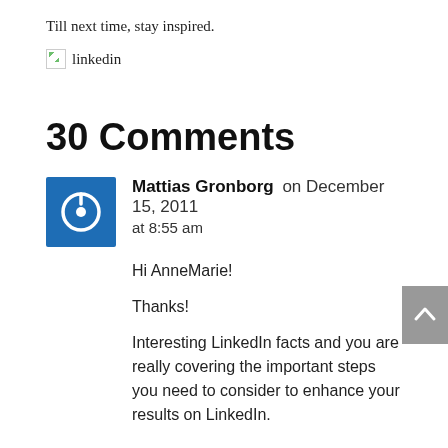Till next time, stay inspired.
[Figure (other): Broken image placeholder with text 'linkedin' beside it]
30 Comments
[Figure (other): Blue square avatar icon with white power/circle symbol]
Mattias Gronborg on December 15, 2011 at 8:55 am
Hi AnneMarie!

Thanks!

Interesting LinkedIn facts and you are really covering the important steps you need to consider to enhance your results on LinkedIn.